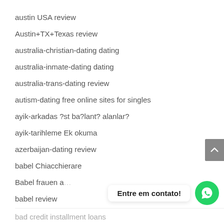austin USA review
Austin+TX+Texas review
australia-christian-dating dating
australia-inmate-dating dating
australia-trans-dating review
autism-dating free online sites for singles
ayik-arkadas ?st ba?lant? alanlar?
ayik-tarihleme Ek okuma
azerbaijan-dating review
babel Chiacchierare
Babel frauen a…
babel review
bad credit installment loans…
Entre em contato!